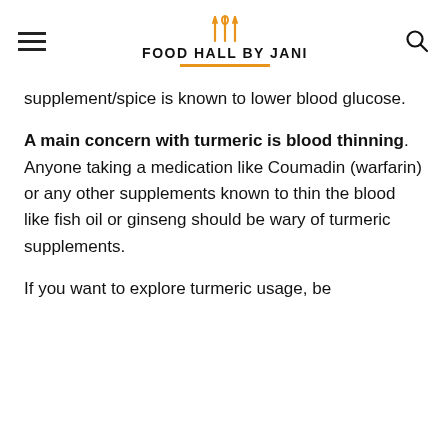FOOD HALL BY JANI
supplement/spice is known to lower blood glucose.
A main concern with turmeric is blood thinning. Anyone taking a medication like Coumadin (warfarin) or any other supplements known to thin the blood like fish oil or ginseng should be wary of turmeric supplements.
If you want to explore turmeric usage, be